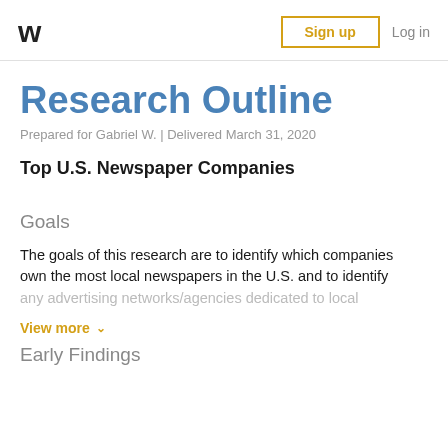W | Sign up | Log in
Research Outline
Prepared for Gabriel W. | Delivered March 31, 2020
Top U.S. Newspaper Companies
Goals
The goals of this research are to identify which companies own the most local newspapers in the U.S. and to identify any advertising networks/agencies dedicated to local
View more
Early Findings